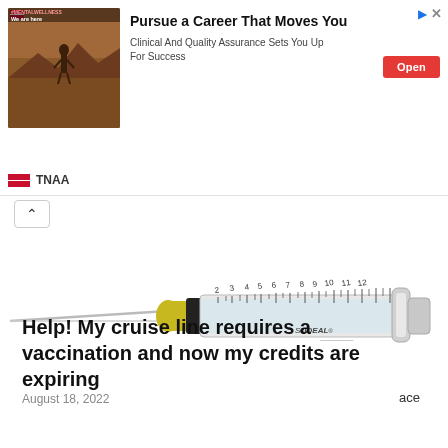[Figure (other): Advertisement banner: TNAA ad with image on left showing a person in a desert landscape with text '#MENTALWELLNESS We are here', headline 'Pursue a Career That Moves You', subtext 'Clinical And Quality Assurance Sets You Up For Success', and a red 'Open' button. Top right shows play and X icons.]
[Figure (photo): A medical syringe with yellow-green hub and needle pointing left, with measurement markings visible on the barrel, photographed on a white background. The syringe appears to be a 12cc or similar capacity Ideal brand syringe.]
ace
Help! My cruise line requires a vaccination and now my credits are expiring
August 18, 2022